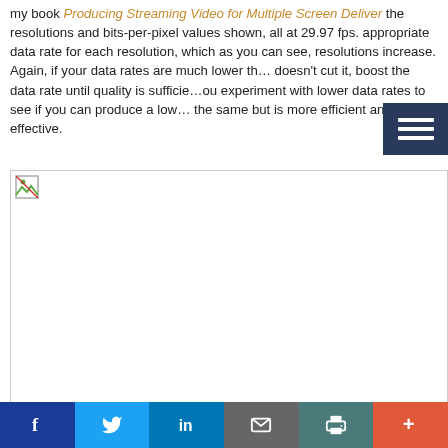my book Producing Streaming Video for Multiple Screen Deliver… the resolutions and bits-per-pixel values shown, all at 29.97 fps. appropriate data rate for each resolution, which as you can see, resolutions increase. Again, if your data rates are much lower th… doesn't cut it, boost the data rate until quality is sufficie… you experiment with lower data rates to see if you can produce a low… the same but is more efficient and cost-effective.
[Figure (photo): A broken/missing image placeholder in a white box with border, representing a figure or screenshot that failed to load.]